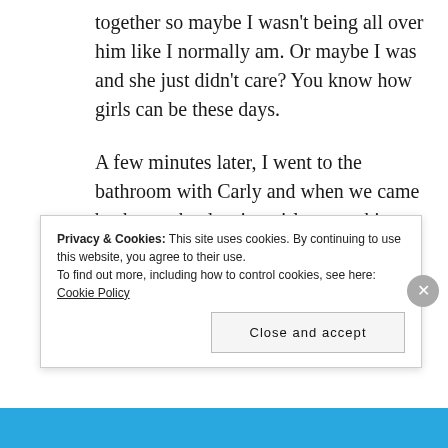together so maybe I wasn't being all over him like I normally am. Or maybe I was and she just didn't care? You know how girls can be these days.
A few minutes later, I went to the bathroom with Carly and when we came back out, the dancing girl was making out with Chris's friend. So good for her.
Privacy & Cookies: This site uses cookies. By continuing to use this website, you agree to their use. To find out more, including how to control cookies, see here: Cookie Policy